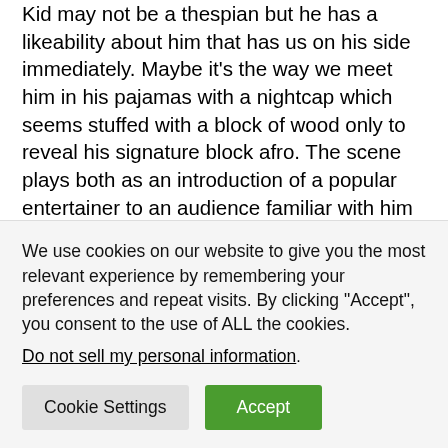Kid may not be a thespian but he has a likeability about him that has us on his side immediately. Maybe it's the way we meet him in his pajamas with a nightcap which seems stuffed with a block of wood only to reveal his signature block afro. The scene plays both as an introduction of a popular entertainer to an audience familiar with him while also acting as an intro to people who may be giving the movie a shot because the critics said it was fun.
While Kid seems to be the kooky borderline surreal
We use cookies on our website to give you the most relevant experience by remembering your preferences and repeat visits. By clicking "Accept", you consent to the use of ALL the cookies. Do not sell my personal information.